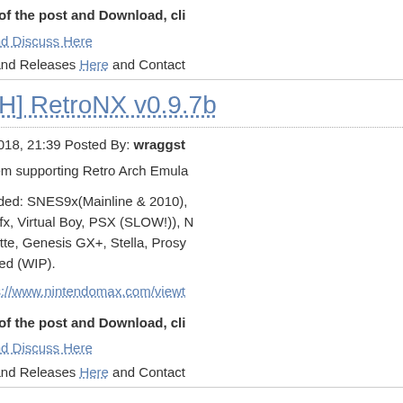To read more of the post and Download, cli
Join In and Discuss Here
Submit News and Releases Here and Contact
[SWITCH] RetroNX v0.9.7b
August 18th, 2018, 21:39 Posted By: wraggst
The multi system supporting Retro Arch Emula
Currently Included: SNES9x(Mainline & 2010), Fast, Supergrafx, Virtual Boy, PSX (SLOW!)), N Handy, Gambatte, Genesis GX+, Stella, Prosy PCSX-ReARMed (WIP).
download https://www.nintendomax.com/viewt
To read more of the post and Download, cli
Join In and Discuss Here
Submit News and Releases Here and Contact
[SWITCH] InvadersNX v1.0
August 18th, 2018, 21:43 Posted By: wraggst